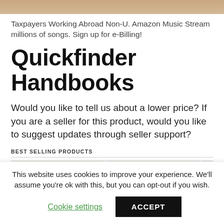[Figure (photo): Top banner image with brown/tan color, partially cropped]
Taxpayers Working Abroad Non-U. Amazon Music Stream millions of songs. Sign up for e-Billing!
Quickfinder Handbooks
Would you like to tell us about a lower price? If you are a seller for this product, would you like to suggest updates through seller support?
BEST SELLING PRODUCTS
[Figure (screenshot): Row of Checkpoint product thumbnails partially visible]
This website uses cookies to improve your experience. We'll assume you're ok with this, but you can opt-out if you wish.
Cookie settings   ACCEPT